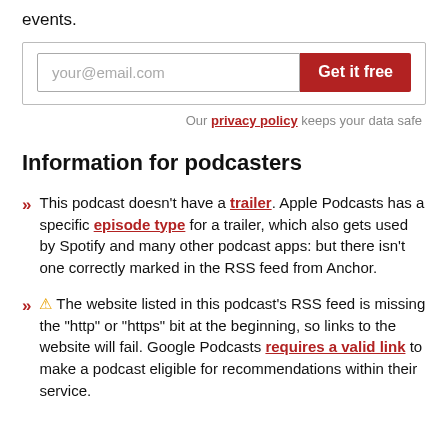events.
[Figure (other): Email signup form with input field showing 'your@email.com' placeholder and a red 'Get it free' button]
Our privacy policy keeps your data safe
Information for podcasters
This podcast doesn't have a trailer. Apple Podcasts has a specific episode type for a trailer, which also gets used by Spotify and many other podcast apps: but there isn't one correctly marked in the RSS feed from Anchor.
⚠ The website listed in this podcast's RSS feed is missing the "http" or "https" bit at the beginning, so links to the website will fail. Google Podcasts requires a valid link to make a podcast eligible for recommendations within their service.